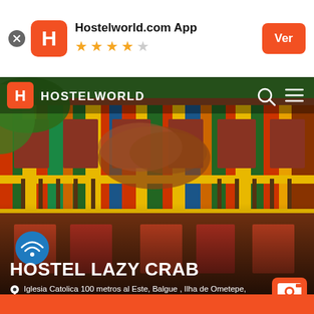[Figure (screenshot): App install banner for Hostelworld.com App with orange H logo, 4.5 star rating, and orange 'Ver' button]
Hostelworld.com App
[Figure (photo): Colorful wooden hostel building with multi-colored vertical stripes (red, yellow, green, blue, orange) and decorative wooden railings. Hostelworld navigation bar overlay at top with logo, search and menu icons.]
HOSTEL LAZY CRAB
Iglesia Catolica 100 metros al Este, Balgue , Ilha de Ometepe, Nicarágua
[Figure (other): Camera icon badge showing 1/29 photos]